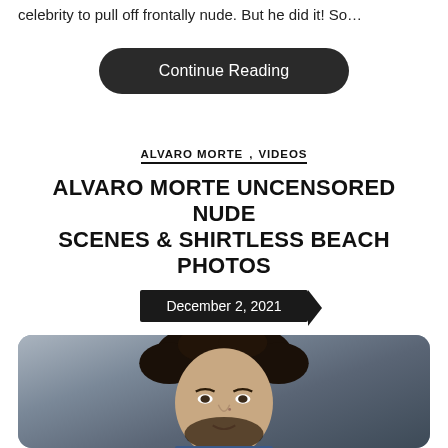celebrity to pull off frontally nude. But he did it! So…
Continue Reading
ALVARO MORTE,  VIDEOS
ALVARO MORTE UNCENSORED NUDE SCENES & SHIRTLESS BEACH PHOTOS
December 2, 2021
[Figure (photo): Headshot portrait of a man with dark curly hair and beard, wearing a blue shirt, against a grey background]